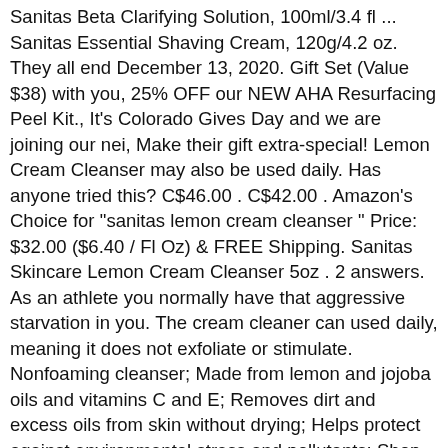Sanitas Beta Clarifying Solution, 100ml/3.4 fl ... Sanitas Essential Shaving Cream, 120g/4.2 oz. They all end December 13, 2020. Gift Set (Value $38) with you, 25% OFF our NEW AHA Resurfacing Peel Kit., It's Colorado Gives Day and we are joining our nei, Make their gift extra-special! Lemon Cream Cleanser may also be used daily. Has anyone tried this? C$46.00 . C$42.00 . Amazon's Choice for "sanitas lemon cream cleanser " Price: $32.00 ($6.40 / Fl Oz) & FREE Shipping. Sanitas Skincare Lemon Cream Cleanser 5oz . 2 answers. As an athlete you normally have that aggressive starvation in you. The cream cleaner can used daily, meaning it does not exfoliate or stimulate. Nonfoaming cleanser; Made from lemon and jojoba oils and vitamins C and E; Removes dirt and excess oils from skin without drying; Helps protect against environmental stress and pollutants; Shop the ... Sanitas Skincare Lemon Cream Cleanser 200 ml. for Sale. Sanitas Skincare Lemon Cream Cleanser, Enriching Cleanser, 5 Ounces 4.7 out of 5 stars 146. Amazon's Choice recommends highly rated and well-priced products. Sanitas Lemon Cream Cleanser is a beautiful non-